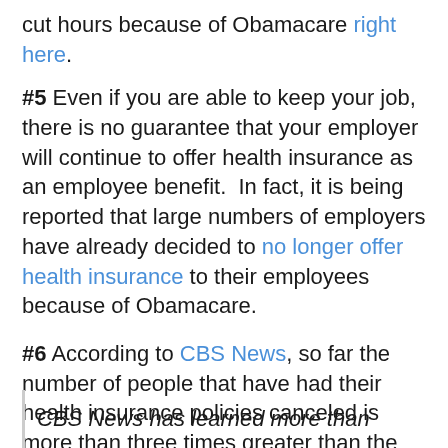cut hours because of Obamacare right here.
#5 Even if you are able to keep your job, there is no guarantee that your employer will continue to offer health insurance as an employee benefit.  In fact, it is being reported that large numbers of employers have already decided to no longer offer health insurance to their employees because of Obamacare.
#6 According to CBS News, so far the number of people that have had their health insurance policies canceled is more than three times greater than the number of people that have signed up for new policies under Obamacare...
CBS News has learned more than